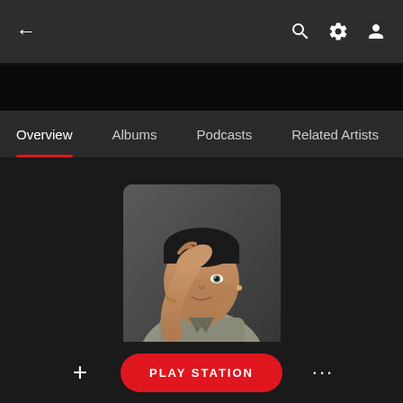← (back) | search icon | settings icon | profile icon
Overview | Albums | Podcasts | Related Artists | Fo...
[Figure (photo): Artist photo of Sam Smith — person with hand on head, wearing a grey jacket, against a grey background]
Sam Smith
+ PLAY STATION ...